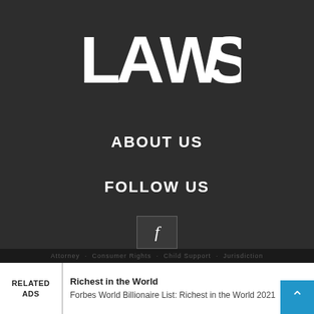[Figure (logo): LAWS logo in white bold sans-serif letters on dark background]
ABOUT US
FOLLOW US
[Figure (other): Facebook icon button - lowercase f in a square box]
Attorney · Consumer Rights · Child Support · Jurisdiction
RELATED ADS
Richest in the World
Forbes World Billionaire List: Richest in the World 2021